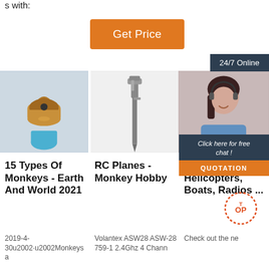s with:
Get Price
24/7 Online
[Figure (photo): Three product/promo images: a gold drill bit on blue background, a metal key/chisel piece on white, and a woman with headset (customer service)]
Click here for free chat !
QUOTATION
15 Types Of Monkeys - Earth And World 2021
2019-4-30u2002·u2002Monkeys a
RC Planes - Monkey Hobby
Volantex ASW28 ASW-28 759-1 2.4Ghz 4 Chann
RC Cars, Trucks, Helicopters, Boats, Radios ...
Check out the ne